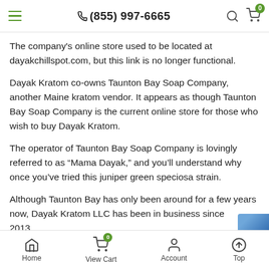(855) 997-6665
The company's online store used to be located at dayakchillspot.com, but this link is no longer functional.
Dayak Kratom co-owns Taunton Bay Soap Company, another Maine kratom vendor. It appears as though Taunton Bay Soap Company is the current online store for those who wish to buy Dayak Kratom.
The operator of Taunton Bay Soap Company is lovingly referred to as “Mama Dayak,” and you’ll understand why once you’ve tried this juniper green speciosa strain.
Although Taunton Bay has only been around for a few years now, Dayak Kratom LLC has been in business since 2013
Home  View Cart 0  Account  Top